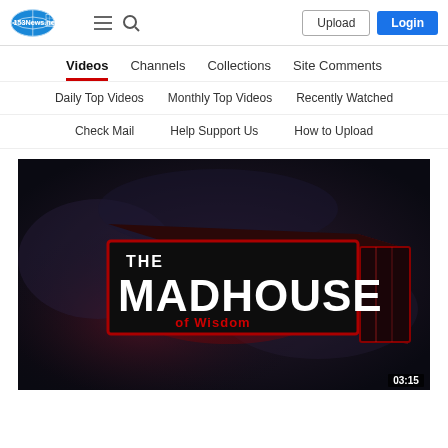153News.net — Upload | Login
Videos | Channels | Collections | Site Comments
Daily Top Videos | Monthly Top Videos | Recently Watched
Check Mail | Help Support Us | How to Upload
[Figure (screenshot): Video thumbnail showing 'THE MADHOUSE of Wisdom' title card on dark smoky background with duration 03:15 in bottom right corner]